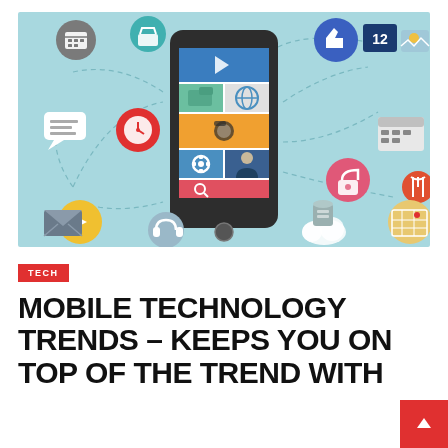[Figure (illustration): A mobile phone with app icons on screen surrounded by floating circular icons representing various mobile technology features including social media, camera, globe, music, email, video, calendar, and more, connected by dashed lines, on a light blue background.]
TECH
MOBILE TECHNOLOGY TRENDS – KEEPS YOU ON TOP OF THE TREND WITH